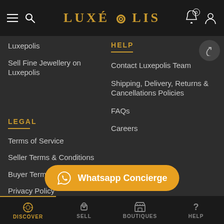LUXÉPOLIS
Luxepolis
Sell Fine Jewellery on Luxepolis
HELP
Contact Luxepolis Team
Shipping, Delivery, Returns & Cancellations Policies
FAQs
Careers
LEGAL
Terms of Service
Seller Terms & Conditions
Buyer Terms & Conditions
Privacy Policy
FEATURED BRANDS
[Figure (other): WhatsApp Concierge button with WhatsApp icon]
DISCOVER  SELL  BOUTIQUES  HELP